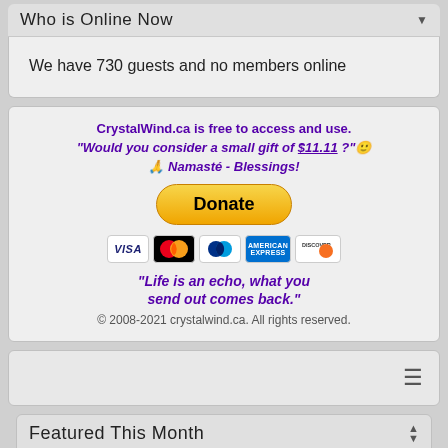Who is Online Now
We have 730 guests and no members online
CrystalWind.ca is free to access and use. "Would you consider a small gift of $11.11 ?" 🙂 🙏 Namasté - Blessings!
[Figure (other): Donate button with PayPal and credit card logos (Visa, Mastercard, PayPal, American Express, Discover)]
"Life is an echo, what you send out comes back."
© 2008-2021 crystalwind.ca. All rights reserved.
[Figure (other): Hamburger menu icon (three horizontal lines)]
Featured This Month
Page: